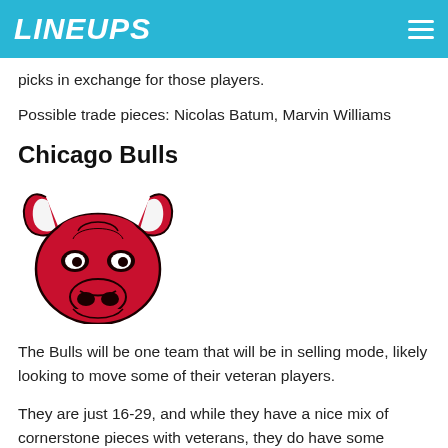LINEUPS
picks in exchange for those players.
Possible trade pieces: Nicolas Batum, Marvin Williams
Chicago Bulls
[Figure (logo): Chicago Bulls logo — red bull head with horns on white background]
The Bulls will be one team that will be in selling mode, likely looking to move some of their veteran players.
They are just 16-29, and while they have a nice mix of cornerstone pieces with veterans, they do have some underperforming vets. Kris Dunn has also been playing out of position all season, but he has been playing well as of late, so the Bulls are in his trade idea...